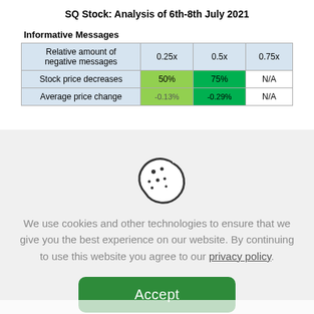SQ Stock: Analysis of 6th-8th July 2021
Informative Messages
|  | 0.25x | 0.5x | 0.75x |
| --- | --- | --- | --- |
| Relative amount of negative messages | 0.25x | 0.5x | 0.75x |
| Stock price decreases | 50% | 75% | N/A |
| Average price change | -0.13% | -0.29% | N/A |
[Figure (other): Cookie consent icon: outline drawing of a cookie with a bite taken out, with dots representing chocolate chips]
We use cookies and other technologies to ensure that we give you the best experience on our website. By continuing to use this website you agree to our privacy policy.